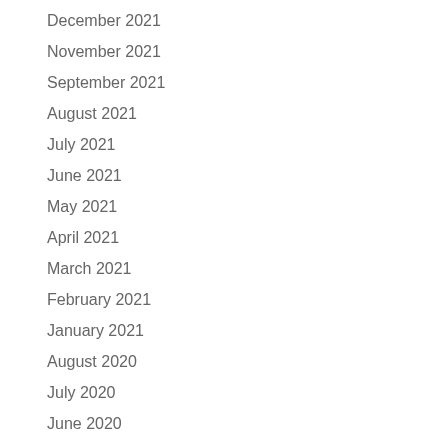December 2021
November 2021
September 2021
August 2021
July 2021
June 2021
May 2021
April 2021
March 2021
February 2021
January 2021
August 2020
July 2020
June 2020